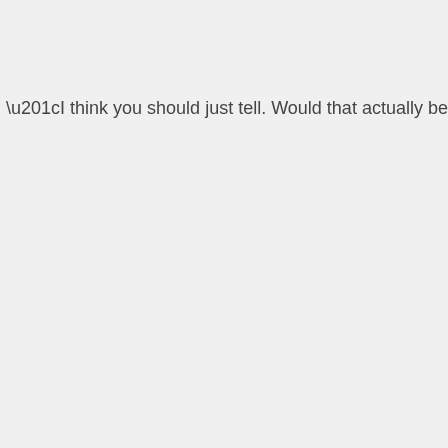“I think you should just tell. Would that actually be that bad?”